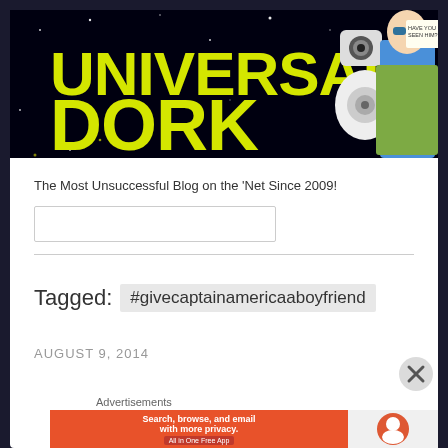[Figure (illustration): Universal Dork blog banner — black starfield background with yellow bubble-letter text reading 'UNIVERSAL DORK', and illustrated characters including a robot (BB-8 style) and a man in blue shirt wearing sunglasses holding a sign saying 'HAVE YOU SEEN HIM?!']
The Most Unsuccessful Blog on the 'Net Since 2009!
Tagged: #givecaptainamericaaboyfriend
AUGUST 9, 2014
Advertisements
[Figure (screenshot): DuckDuckGo advertisement banner: orange left side reading 'Search, browse, and email with more privacy. All in One Free App' and right side showing DuckDuckGo logo on grey background]